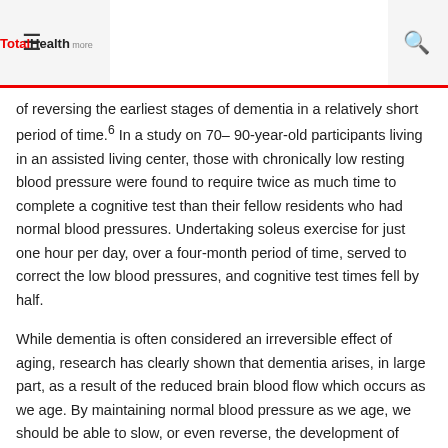TotalHealth ☰ 🔍
of reversing the earliest stages of dementia in a relatively short period of time.⁶ In a study on 70–90-year-old participants living in an assisted living center, those with chronically low resting blood pressure were found to require twice as much time to complete a cognitive test than their fellow residents who had normal blood pressures. Undertaking soleus exercise for just one hour per day, over a four-month period of time, served to correct the low blood pressures, and cognitive test times fell by half.
While dementia is often considered an irreversible effect of aging, research has clearly shown that dementia arises, in large part, as a result of the reduced brain blood flow which occurs as we age. By maintaining normal blood pressure as we age, we should be able to slow, or even reverse, the development of dementia and perhaps even prevent future cases of Alzheimer's and other debilitating forms of dementia.